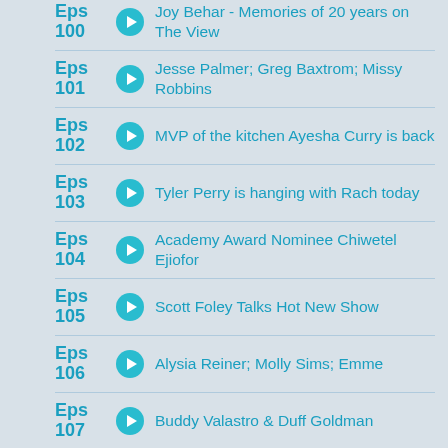Eps 100 - Joy Behar - Memories of 20 years on The View
Eps 101 - Jesse Palmer; Greg Baxtrom; Missy Robbins
Eps 102 - MVP of the kitchen Ayesha Curry is back
Eps 103 - Tyler Perry is hanging with Rach today
Eps 104 - Academy Award Nominee Chiwetel Ejiofor
Eps 105 - Scott Foley Talks Hot New Show
Eps 106 - Alysia Reiner; Molly Sims; Emme
Eps 107 - Buddy Valastro & Duff Goldman
Eps 108 - Dr. Ian Smith is schooling us
Eps 109 - Chef Emeril Lagasse is in the house today and he's serving up